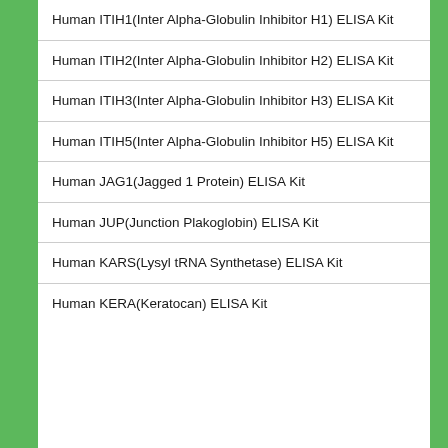Human ITIH1(Inter Alpha-Globulin Inhibitor H1) ELISA Kit
Human ITIH2(Inter Alpha-Globulin Inhibitor H2) ELISA Kit
Human ITIH3(Inter Alpha-Globulin Inhibitor H3) ELISA Kit
Human ITIH5(Inter Alpha-Globulin Inhibitor H5) ELISA Kit
Human JAG1(Jagged 1 Protein) ELISA Kit
Human JUP(Junction Plakoglobin) ELISA Kit
Human KARS(Lysyl tRNA Synthetase) ELISA Kit
Human KERA(Keratocan) ELISA Kit